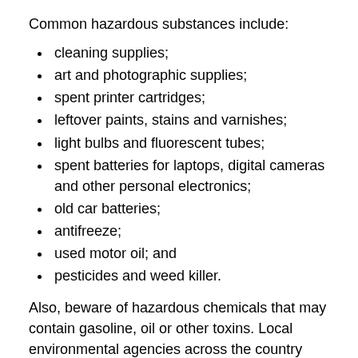Common hazardous substances include:
cleaning supplies;
art and photographic supplies;
spent printer cartridges;
leftover paints, stains and varnishes;
light bulbs and fluorescent tubes;
spent batteries for laptops, digital cameras and other personal electronics;
old car batteries;
antifreeze;
used motor oil; and
pesticides and weed killer.
Also, beware of hazardous chemicals that may contain gasoline, oil or other toxins. Local environmental agencies across the country have set up programs for homeowners to trade in their old gasoline-powered lawnmowers and electric gardening equipment. Contact your local solid waste collection outfit or environmental agency to inquire